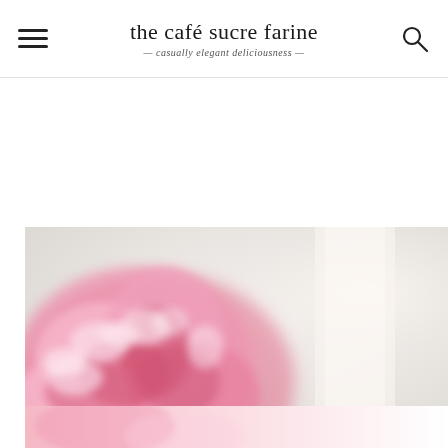the café sucre farine — casually elegant deliciousness
[Figure (photo): Close-up blurred photo of a pink carnation or peony flower against a light grey and cream background, with overlay buttons showing 168 likes (heart icon) and a search/magnify icon in dark circle]
[Figure (photo): Partial peek of another pink floral photo at the bottom of the page]